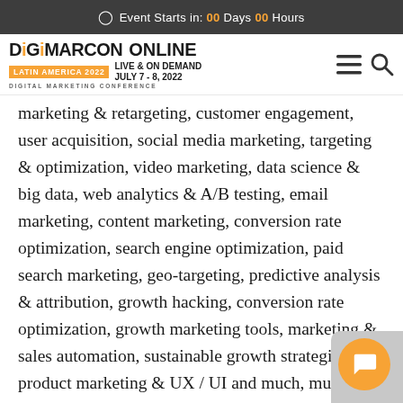Event Starts in: 00 Days 00 Hours
[Figure (logo): DigiMarCon Latin America 2022 Digital Marketing Conference logo with ONLINE LIVE & ON DEMAND JULY 7-8, 2022 text and navigation icons]
marketing & retargeting, customer engagement, user acquisition, social media marketing, targeting & optimization, video marketing, data science & big data, web analytics & A/B testing, email marketing, content marketing, conversion rate optimization, search engine optimization, paid search marketing, geo-targeting, predictive analysis & attribution, growth hacking, conversion rate optimization, growth marketing tools, marketing & sales automation, sustainable growth strategies, product marketing & UX / UI and much, much more! Join your peers online for 2-days jam packed with digital marketing best practices, latest trends, practical solutions, strategy and networking. See why people keep coming back year after year to this must-attend virtual event! Register and secure your seat today. For more